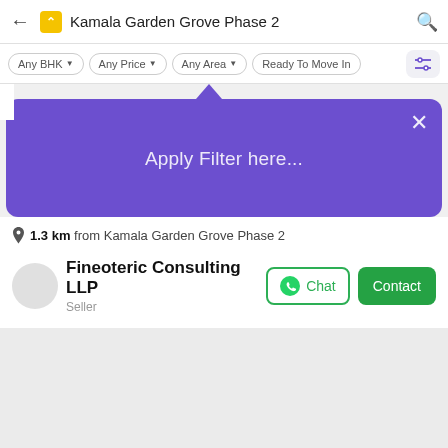Kamala Garden Grove Phase 2
Any BHK | Any Price | Any Area | Ready To Move In
[Figure (screenshot): Purple popup overlay with text 'Apply Filter here...' and a close X button, with upward pointing arrow]
1.3 km from Kamala Garden Grove Phase 2
Fineoteric Consulting LLP
Seller
Chat   Contact